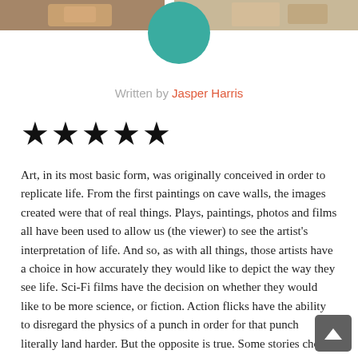[Figure (photo): Photo strip at top of page showing people, partially cropped]
[Figure (illustration): Teal/turquoise circular avatar icon overlapping the top photo strip]
Written by Jasper Harris
★★★★★
Art, in its most basic form, was originally conceived in order to replicate life. From the first paintings on cave walls, the images created were that of real things. Plays, paintings, photos and films all have been used to allow us (the viewer) to see the artist's interpretation of life. And so, as with all things, those artists have a choice in how accurately they would like to depict the way they see life. Sci-Fi films have the decision on whether they would like to be more science, or fiction. Action flicks have the ability to disregard the physics of a punch in order for that punch literally land harder. But the opposite is true. Some stories choose to instead show us everything, and in doing so, take a risk. There is the unfortunate potential that they